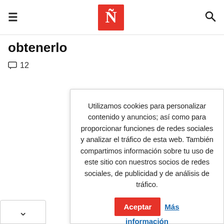Ñ (logo)
obtenerlo
□ 12
Utilizamos cookies para personalizar contenido y anuncios; así como para proporcionar funciones de redes sociales y analizar el tráfico de esta web. También compartimos información sobre tu uso de este sitio con nuestros socios de redes sociales, de publicidad y de análisis de tráfico. Aceptar Más información